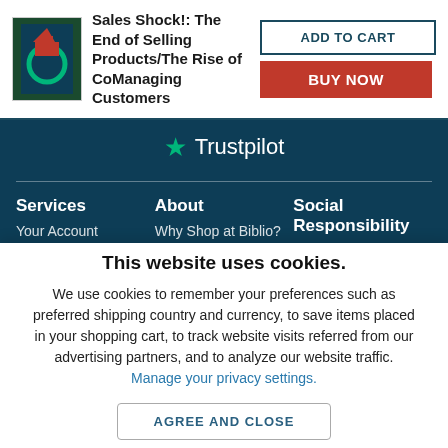[Figure (illustration): Book cover thumbnail for 'Sales Shock!: The End of Selling Products/The Rise of CoManaging Customers']
Sales Shock!: The End of Selling Products/The Rise of CoManaging Customers
ADD TO CART
BUY NOW
[Figure (logo): Trustpilot logo with green star]
Services
Your Account
About
Why Shop at Biblio?
Social Responsibility
This website uses cookies.
We use cookies to remember your preferences such as preferred shipping country and currency, to save items placed in your shopping cart, to track website visits referred from our advertising partners, and to analyze our website traffic. Manage your privacy settings.
AGREE AND CLOSE